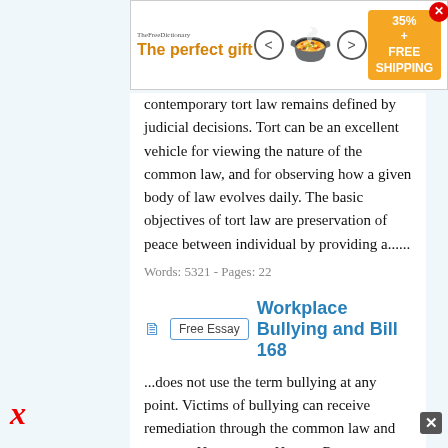[Figure (screenshot): Advertisement banner: 'The perfect gift' with decorative pot image, discount badge showing 35% + FREE SHIPPING, navigation arrows and close button]
contemporary tort law remains defined by judicial decisions. Tort can be an excellent vehicle for viewing the nature of the common law, and for observing how a given body of law evolves daily. The basic objectives of tort law are preservation of peace between individual by providing a......
Words: 5321 - Pages: 22
Workplace Bullying and Bill 168
...does not use the term bullying at any point. Victims of bullying can receive remediation through the common law and statutes. However, as Human Resources Professionals it is our legislated duty to provide safe workplaces for the employees we manage. Additionally, our responsibility is to mitigate